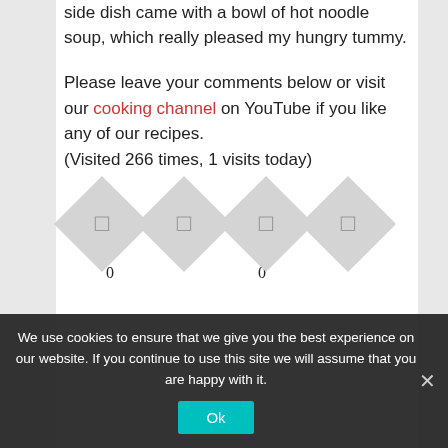side dish came with a bowl of hot noodle soup, which really pleased my hungry tummy.
Please leave your comments below or visit our cooking channel on YouTube if you like any of our recipes.
(Visited 266 times, 1 visits today)
[Figure (other): Four diamond-shaped social sharing icons with counts 0 and 0 below]
Next Post »
Pork/Lamb Onion Curry Rice- COCO Curry
February 5, 2016   2 comments
We use cookies to ensure that we give you the best experience on our website. If you continue to use this site we will assume that you are happy with it.